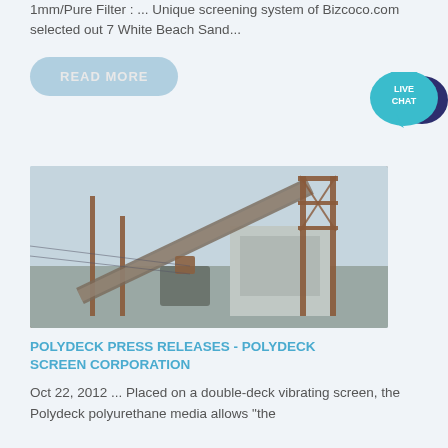1mm/Pure Filter : ... Unique screening system of Bizcoco.com selected out 7 White Beach Sand...
READ MORE
[Figure (photo): Industrial conveyor belt and steel frame structure at a mining or sand processing facility, photographed against a grey sky.]
POLYDECK PRESS RELEASES - POLYDECK SCREEN CORPORATION
Oct 22, 2012 ... Placed on a double-deck vibrating screen, the Polydeck polyurethane media allows “the